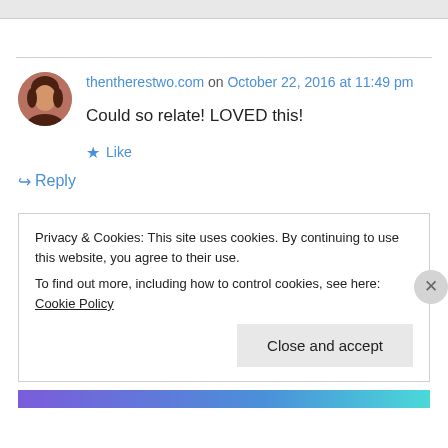[Figure (screenshot): Gray top navigation bar of a website]
thentherestwo.com on October 22, 2016 at 11:49 pm
Could so relate! LOVED this!
★ Like
↪ Reply
Privacy & Cookies: This site uses cookies. By continuing to use this website, you agree to their use.
To find out more, including how to control cookies, see here: Cookie Policy
Close and accept